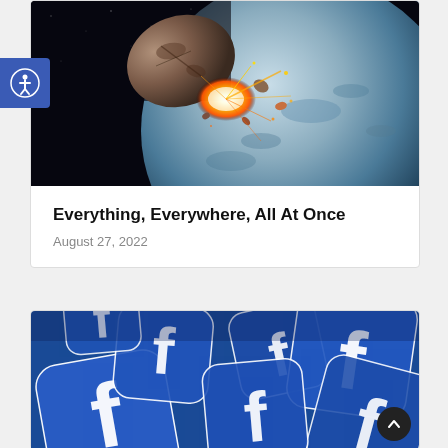[Figure (photo): Asteroid impact on a planet/moon against a dark space background with fire and debris]
Everything, Everywhere, All At Once
August 27, 2022
[Figure (photo): Multiple Facebook logo icon tiles scattered on a blue background]